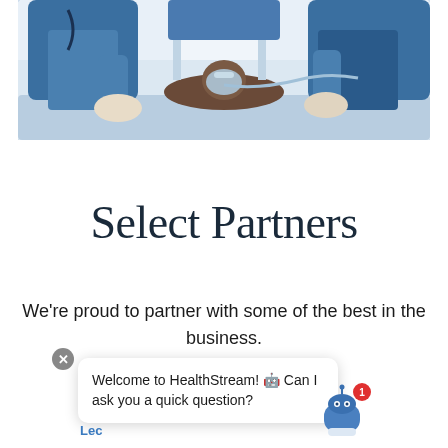[Figure (photo): Medical professionals in blue scrubs and gloves attending to a patient lying down, placing an oxygen mask]
Select Partners
We're proud to partner with some of the best in the business.
[Figure (screenshot): Chat widget popup with close button, 'Lec' text label, and message: 'Welcome to HealthStream! 🤖 Can I ask you a quick question?' with a blue robot icon with red badge showing '1']